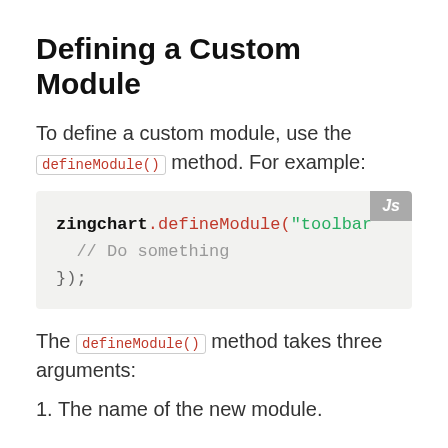Defining a Custom Module
To define a custom module, use the defineModule() method. For example:
[Figure (screenshot): Code block showing: zingchart.defineModule("toolbar" // Do something });  with a JS badge in the top right corner]
The defineModule() method takes three arguments:
1. The name of the new module.